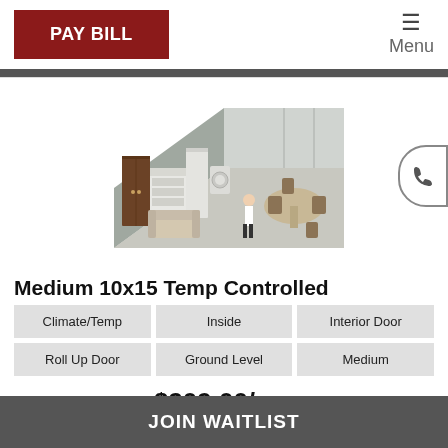PAY BILL | Menu
[Figure (illustration): 3D illustration of a medium storage unit interior showing furniture including a wardrobe, dresser, sofa, appliances, dining table with chairs, and a person standing inside. A circular phone icon button is visible on the right edge.]
Medium 10x15 Temp Controlled
Climate/Temp
Inside
Interior Door
Roll Up Door
Ground Level
Medium
$209.00/mo
JOIN WAITLIST